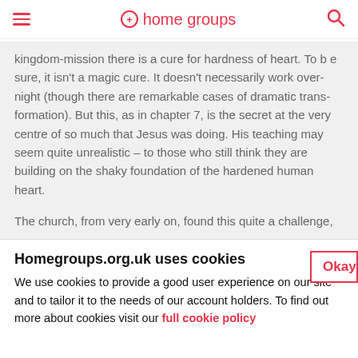home groups
kingdom-mission there is a cure for hardness of heart. To be sure, it isn't a magic cure. It doesn't necessarily work over-night (though there are remarkable cases of dramatic transformation). But this, as in chapter 7, is the secret at the very centre of so much that Jesus was doing. His teaching may seem quite unrealistic – to those who still think they are building on the shaky foundation of the hardened human heart.
The church, from very early on, found this quite a challenge,
Homegroups.org.uk uses cookies
We use cookies to provide a good user experience on our site and to tailor it to the needs of our account holders. To find out more about cookies visit our full cookie policy